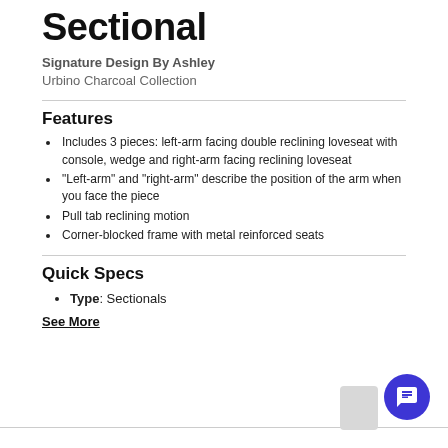Sectional
Signature Design By Ashley
Urbino Charcoal Collection
Features
Includes 3 pieces: left-arm facing double reclining loveseat with console, wedge and right-arm facing reclining loveseat
"Left-arm" and "right-arm" describe the position of the arm when you face the piece
Pull tab reclining motion
Corner-blocked frame with metal reinforced seats
Quick Specs
Type: Sectionals
See More